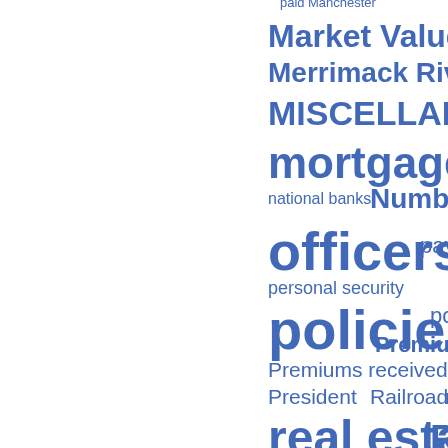[Figure (other): Word cloud / tag index showing insurance-related terms in varying font sizes, all in blue. Terms include: paid, Manchester, Market Value, Merrimack River, MISCELLANEOUS, mortgages, Mutual, national banks, Number, officers, payment, personal security, policies, policy-holders, Premium notes, Premiums received, President, Railroad, re-insurance, real estate, Risks, Risks written, Salaries, Savings Bank, Secretary, SECT, secured by Western, shares, STATEMENT.]